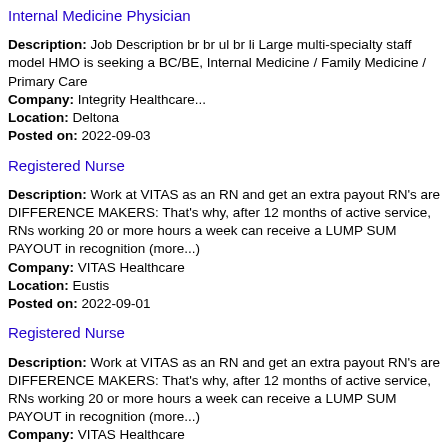Internal Medicine Physician
Description: Job Description br br ul br li Large multi-specialty staff model HMO is seeking a BC/BE, Internal Medicine / Family Medicine / Primary Care
Company: Integrity Healthcare...
Location: Deltona
Posted on: 2022-09-03
Registered Nurse
Description: Work at VITAS as an RN and get an extra payout RN's are DIFFERENCE MAKERS: That's why, after 12 months of active service, RNs working 20 or more hours a week can receive a LUMP SUM PAYOUT in recognition (more...)
Company: VITAS Healthcare
Location: Eustis
Posted on: 2022-09-01
Registered Nurse
Description: Work at VITAS as an RN and get an extra payout RN's are DIFFERENCE MAKERS: That's why, after 12 months of active service, RNs working 20 or more hours a week can receive a LUMP SUM PAYOUT in recognition (more...)
Company: VITAS Healthcare
Location: Eustis
Posted on: 2022-09-03
Physician / Internal Medicine / Florida / Permanent / Internal Medicine Physician